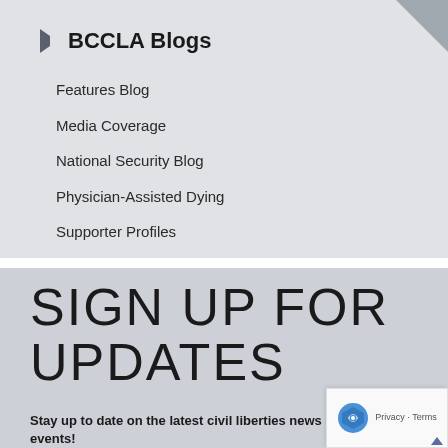BCCLA Blogs
Features Blog
Media Coverage
National Security Blog
Physician-Assisted Dying
Supporter Profiles
Writings of Bob Rowan
SIGN UP FOR UPDATES
Stay up to date on the latest civil liberties news and events!